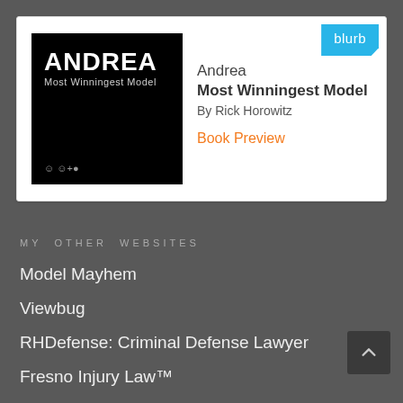[Figure (other): Blurb book preview card showing book cover for 'Andrea: Most Winningest Model' by Rick Horowitz with Blurb logo and Book Preview link]
MY OTHER WEBSITES
Model Mayhem
Viewbug
RHDefense: Criminal Defense Lawyer
Fresno Injury Law™